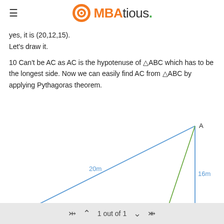MBAtious.
yes, it is (20,12,15).
Let's draw it.
10 Can't be AC as AC is the hypotenuse of △ABC which has to be the longest side. Now we can easily find AC from △ABC by applying Pythagoras theorem.
[Figure (engineering-diagram): Geometric diagram showing triangle with vertices D (bottom-left), B (bottom-right), A (top-right). Line DA labeled 20m, vertical line AB labeled 16m, horizontal base DB with D to C labeled 10m and C to B labeled 2m. Green lines from A to C shown.]
1 out of 1